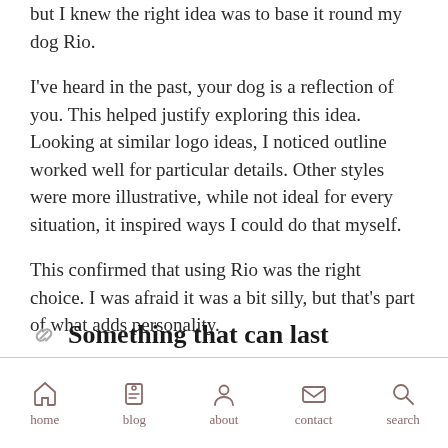but I knew the right idea was to base it round my dog Rio.
I've heard in the past, your dog is a reflection of you. This helped justify exploring this idea. Looking at similar logo ideas, I noticed outline worked well for particular details. Other styles were more illustrative, while not ideal for every situation, it inspired ways I could do that myself.
This confirmed that using Rio was the right choice. I was afraid it was a bit silly, but that's part of what adds personality.
Something that can last
home | blog | about | contact | search